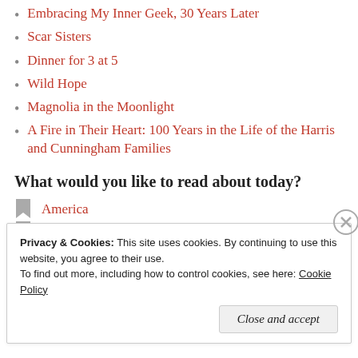Embracing My Inner Geek, 30 Years Later
Scar Sisters
Dinner for 3 at 5
Wild Hope
Magnolia in the Moonlight
A Fire in Their Heart: 100 Years in the Life of the Harris and Cunningham Families
What would you like to read about today?
America
Business
Privacy & Cookies: This site uses cookies. By continuing to use this website, you agree to their use.
To find out more, including how to control cookies, see here: Cookie Policy
Close and accept